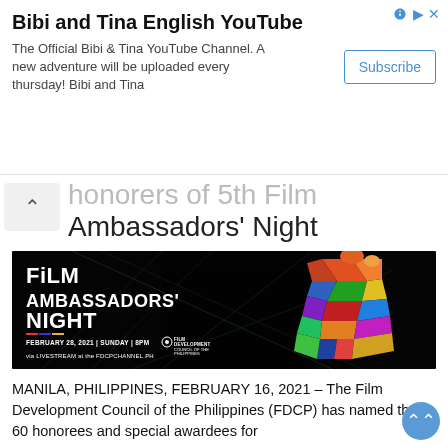[Figure (screenshot): YouTube channel advertisement banner for 'Bibi and Tina English YouTube' with a Subscribe button, ad icons, and channel description text.]
honorers of 5th Film Ambassadors' Night
[Figure (illustration): Film Ambassadors' Night event poster on black background. Text reads: FiLM AMBASSADORS' NIGHT, FEBRUARY 28, 2021 | SUNDAY | 8PM, via LIVESTREAM at the FDCPCHANNEL.PH. Features a colorful geometric person figure made of triangles and rectangles on the right side, a film reel icon, and FDCP logo.]
MANILA, PHILIPPINES, FEBRUARY 16, 2021 – The Film Development Council of the Philippines (FDCP) has named the 60 honorees and special awardees for